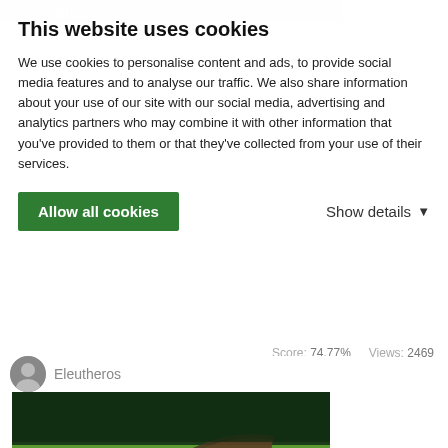This website uses cookies
We use cookies to personalise content and ads, to provide social media features and to analyse our traffic. We also share information about your use of our site with our social media, advertising and analytics partners who may combine it with other information that you've provided to them or that they've collected from your use of their services.
Allow all cookies     Show details
Score: 74.77%  Views: 2469
Eleutheros
[Figure (photo): Aerial/ground-level photo of a green meadow with muddy tire tracks running through it, surrounded by trees in the background. A text overlay at the bottom reads 'Tire Damage'.]
Tire Damage
Mount Holly
Created: Dec 19, 2006